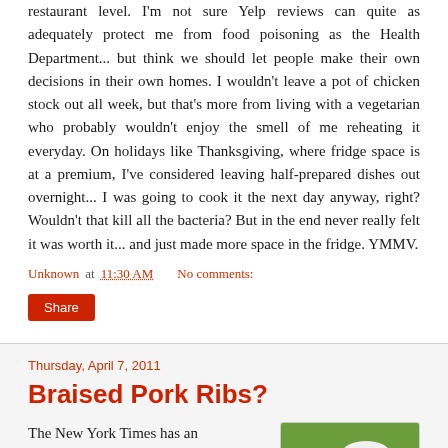restaurant level. I'm not sure Yelp reviews can quite as adequately protect me from food poisoning as the Health Department... but think we should let people make their own decisions in their own homes. I wouldn't leave a pot of chicken stock out all week, but that's more from living with a vegetarian who probably wouldn't enjoy the smell of me reheating it everyday. On holidays like Thanksgiving, where fridge space is at a premium, I've considered leaving half-prepared dishes out overnight... I was going to cook it the next day anyway, right? Wouldn't that kill all the bacteria? But in the end never really felt it was worth it... and just made more space in the fridge. YMMV.
Unknown at 11:30 AM    No comments:
Share
Thursday, April 7, 2011
Braised Pork Ribs?
The New York Times has an
[Figure (photo): Photo of white mushrooms on green grass background]